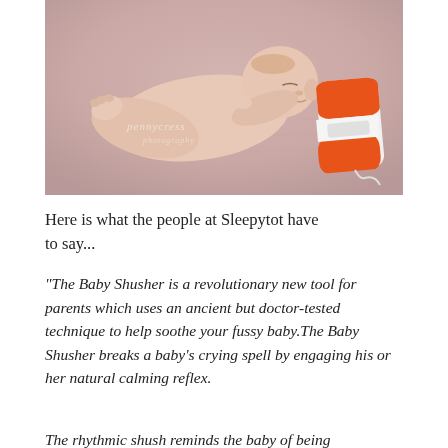[Figure (photo): A sleeping newborn baby lying on a pink/mauve background next to an orange and white Baby Shusher device. Photo watermarked 'pennycress photography'.]
Here is what the people at Sleepytot have to say...
“The Baby Shusher is a revolutionary new tool for parents which uses an ancient but doctor-tested technique to help soothe your fussy baby.The Baby Shusher breaks a baby’s crying spell by engaging his or her natural calming reflex.
The rhythmic shush reminds the baby of being